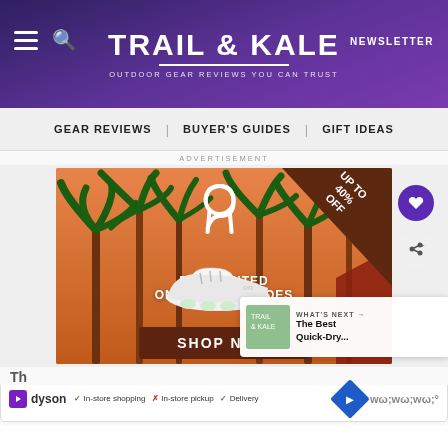TRAIL & KALE — OUTDOOR GEAR REVIEWS YOU CAN TRUST | NEWSLETTER
GEAR REVIEWS | BUYER'S GUIDES | GIFT IDEAS
ADVERTISEMENT
[Figure (photo): On Running shoes advertisement with palm trees background, 'DISCOUNTED ON RUNNING SHOES', 'UP TO 40% OFF' badge, white running shoe, and 'SHOP NOW' button]
WHAT'S NEXT → The Best Quick-Dry...
Th...
[Figure (other): Dyson advertisement banner: In-store shopping (check), In-store pickup (X), Delivery (check), with navigation icon]